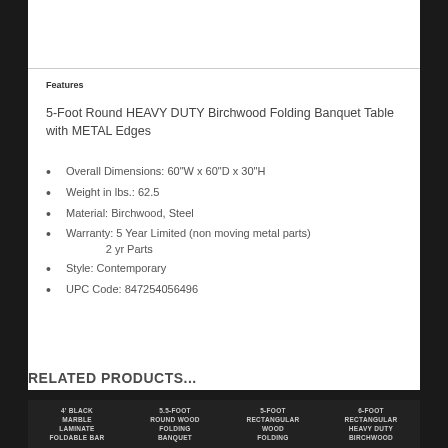Features
5-Foot Round HEAVY DUTY Birchwood Folding Banquet Table with METAL Edges
Overall Dimensions: 60"W x 60"D x 30"H
Weight in lbs.: 62.5
Material: Birchwood, Steel
Warranty: 5 Year Limited (non moving metal parts) 2 yr Parts
Style: Contemporary
UPC Code: 847254056496
RELATED PRODUCTS...
4' BLACK MARBLE LAMINATE FOLDABLE BAR | 5.5-FOOT ROUND WOOD FOLDING BANQUET | 5-FOOT RECTANGULAR WOOD FOLDING | 6-FOOT RECTANGULAR HEAVY DUTY BIRCHWOOD